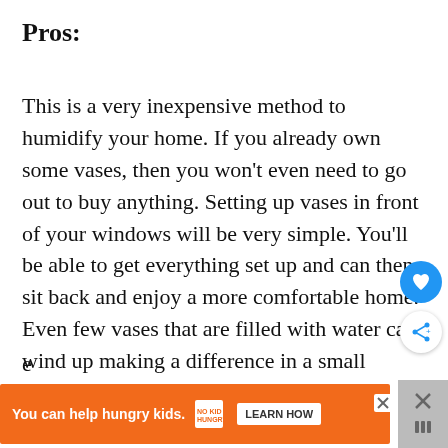Pros:
This is a very inexpensive method to humidify your home. If you already own some vases, then you won't even need to go out to buy anything. Setting up vases in front of your windows will be very simple. You'll be able to get everything set up and can then sit back and enjoy a more comfortable home. Even few vases that are filled with water can wind up making a difference in a small
e
[Figure (other): Advertisement banner: orange background with text 'You can help hungry kids.' and No Kid Hungry logo and LEARN HOW button]
[Figure (other): Heart/favorite button (blue circular button with heart icon)]
[Figure (other): Share button (white circular button with share icon)]